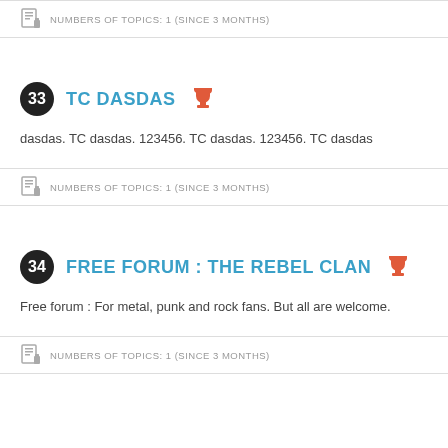NUMBERS OF TOPICS: 1 (SINCE 3 MONTHS)
33 TC DASDAS
dasdas. TC dasdas. 123456. TC dasdas. 123456. TC dasdas
NUMBERS OF TOPICS: 1 (SINCE 3 MONTHS)
34 FREE FORUM : THE REBEL CLAN
Free forum : For metal, punk and rock fans. But all are welcome.
NUMBERS OF TOPICS: 1 (SINCE 3 MONTHS)